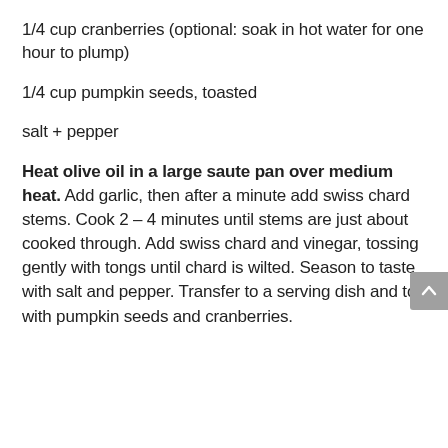1/4 cup cranberries (optional: soak in hot water for one hour to plump)
1/4 cup pumpkin seeds, toasted
salt + pepper
Heat olive oil in a large saute pan over medium heat. Add garlic, then after a minute add swiss chard stems. Cook 2 – 4 minutes until stems are just about cooked through. Add swiss chard and vinegar, tossing gently with tongs until chard is wilted. Season to taste with salt and pepper. Transfer to a serving dish and top with pumpkin seeds and cranberries.